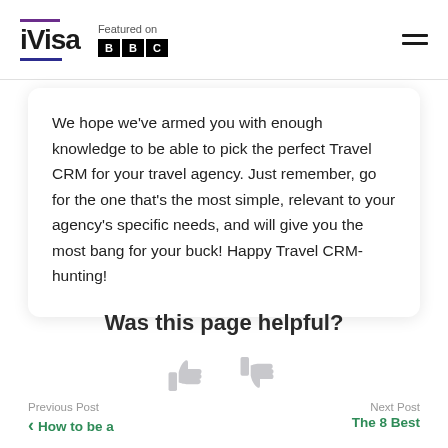iVisa — Featured on BBC
We hope we've armed you with enough knowledge to be able to pick the perfect Travel CRM for your travel agency. Just remember, go for the one that's the most simple, relevant to your agency's specific needs, and will give you the most bang for your buck! Happy Travel CRM-hunting!
Was this page helpful?
[Figure (illustration): Thumbs up and thumbs down icons in light gray for page feedback]
Previous Post
How to be a
Next Post
The 8 Best